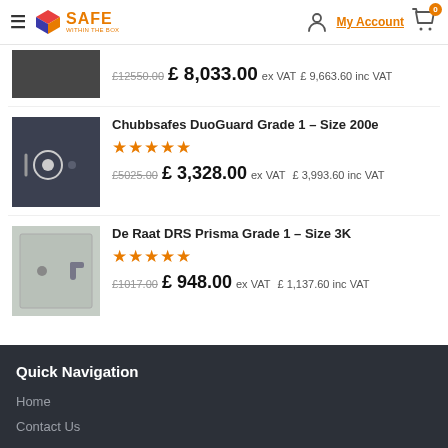Safe Within The Box — My Account — Cart (0)
[Figure (screenshot): Partially visible product thumbnail — dark safe]
£12550.00 £ 8,033.00 ex VAT £ 9,663.60 inc VAT
[Figure (photo): Chubbsafes DuoGuard Grade 1 product thumbnail — dark grey safe with dial]
Chubbsafes DuoGuard Grade 1 – Size 200e ★★★★★ £5025.00 £ 3,328.00 ex VAT £ 3,993.60 inc VAT
[Figure (photo): De Raat DRS Prisma Grade 1 product thumbnail — light grey safe with handle]
De Raat DRS Prisma Grade 1 – Size 3K ★★★★★ £1017.00 £ 948.00 ex VAT £ 1,137.60 inc VAT
Quick Navigation
Home
Contact Us